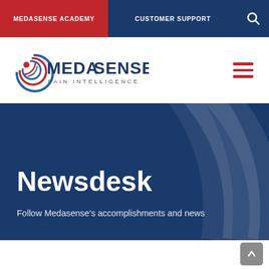MEDASENSE ACADEMY | CUSTOMER SUPPORT
[Figure (logo): Medasense Pain Intelligence logo — circular fingerprint icon in red/blue with MEDASENSE SENSE in dark navy and 'PAIN INTELLIGENCE' subtitle]
Newsdesk
Follow Medasense's accomplishments and news